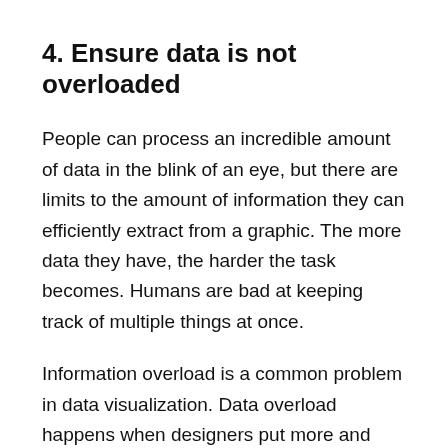4. Ensure data is not overloaded
People can process an incredible amount of data in the blink of an eye, but there are limits to the amount of information they can efficiently extract from a graphic. The more data they have, the harder the task becomes. Humans are bad at keeping track of multiple things at once.
Information overload is a common problem in data visualization. Data overload happens when designers put more and more datasets into the